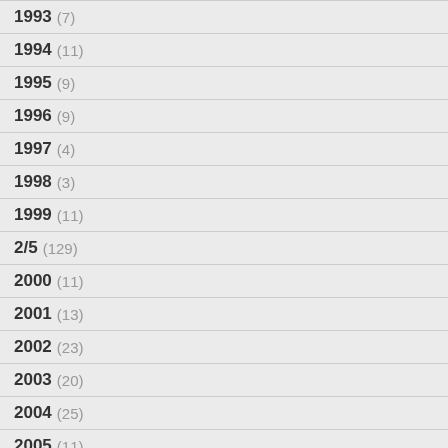1993 (7)
1994 (11)
1995 (9)
1996 (9)
1997 (4)
1998 (3)
1999 (11)
2/5 (129)
2000 (11)
2001 (13)
2002 (23)
2003 (20)
2004 (25)
2005 (11)
2006 (24)
2007 (19)
2008 (44)
2009 (66)